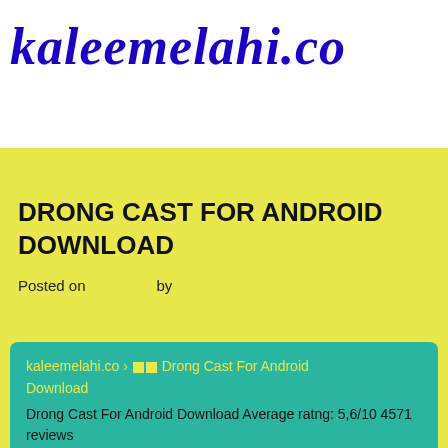kaleemelahi.co
DRONG CAST FOR ANDROID DOWNLOAD
Posted on   by
kaleemelahi.co › ▪▪ Drong Cast For Android Download
Drong Cast For Android Download Average ratng: 5,6/10 4571 reviews